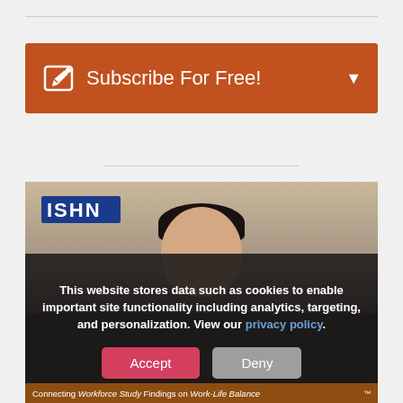[Figure (screenshot): Subscribe For Free button bar with orange background and pencil icon]
[Figure (screenshot): Video thumbnail showing ISHN logo and a person, with a cookie consent overlay containing Accept and Deny buttons. Caption at bottom reads: Connecting Workforce Study Findings on Work-Life Balance]
This website stores data such as cookies to enable important site functionality including analytics, targeting, and personalization. View our privacy policy.